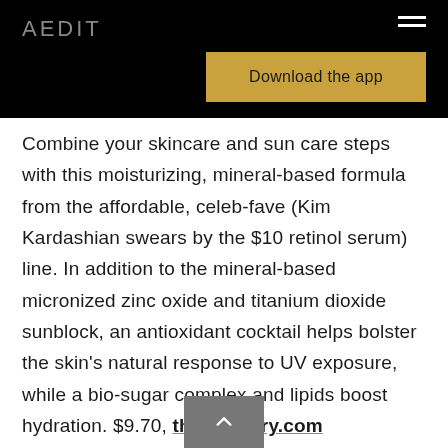AEDIT
[Figure (screenshot): Download the app button (gold/yellow background)]
Combine your skincare and sun care steps with this moisturizing, mineral-based formula from the affordable, celeb-fave (Kim Kardashian swears by the $10 retinol serum) line. In addition to the mineral-based micronized zinc oxide and titanium dioxide sunblock, an antioxidant cocktail helps bolster the skin's natural response to UV exposure, while a bio-sugar complex and lipids boost hydration. $9.70, theordinary.com